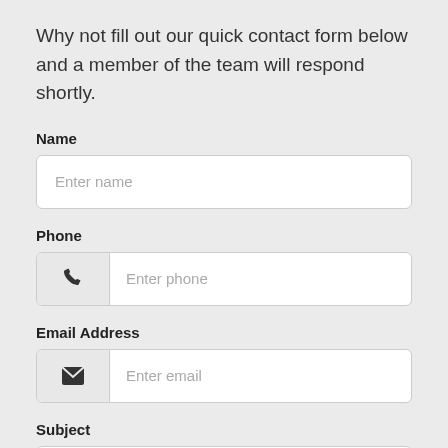Why not fill out our quick contact form below and a member of the team will respond shortly.
Name
[Figure (screenshot): Text input field with placeholder text 'Enter name']
Phone
[Figure (screenshot): Phone input field with phone icon and placeholder text 'Enter phone']
Email Address
[Figure (screenshot): Email input field with envelope icon and placeholder text 'Enter email']
Subject
[Figure (screenshot): Subject input field, partially visible at bottom of page]